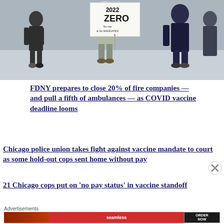[Figure (photo): Protest photo showing people marching with a sign reading '2022 ZERO - No Mandates']
FDNY prepares to close 20% of fire companies — and pull a fifth of ambulances — as COVID vaccine deadline looms
Chicago police union takes fight against vaccine mandate to court as some hold-out cops sent home without pay
21 Chicago cops put on 'no pay status' in vaccine standoff
Advertisements